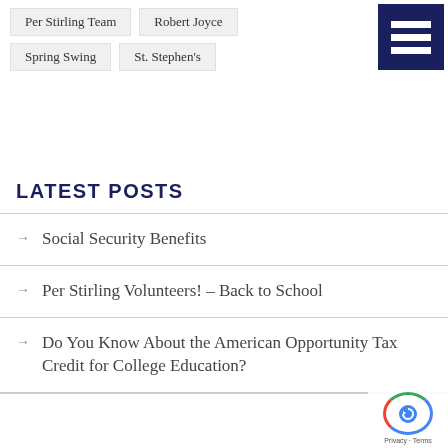Per Stirling Team
Robert Joyce
Spring Swing
St. Stephen's
LATEST POSTS
Social Security Benefits
Per Stirling Volunteers! – Back to School
Do You Know About the American Opportunity Tax Credit for College Education?